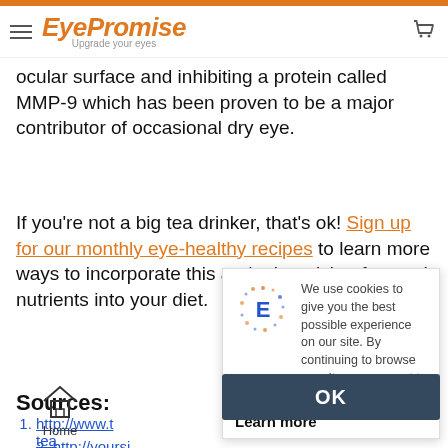EyePromise — Upgrade your eyes
in green te. Green tea extract has also been shown to help improve occasional dry eye by supporting the tissues on the ocular surface and inhibiting a protein called MMP-9 which has been proven to be a major contributor of occasional dry eye.
If you're not a big tea drinker, that's ok! Sign up for our monthly eye-healthy recipes to learn more ways to incorporate this and other vision-focused nutrients into your diet.
Sources:
http://www.t tea
http://yoursi
[Figure (logo): EyePromise circular E logo with dots]
We use cookies to give you the best possible experience on our site. By continuing to browse our site you consent to cookies.
Learn more
OK
Home